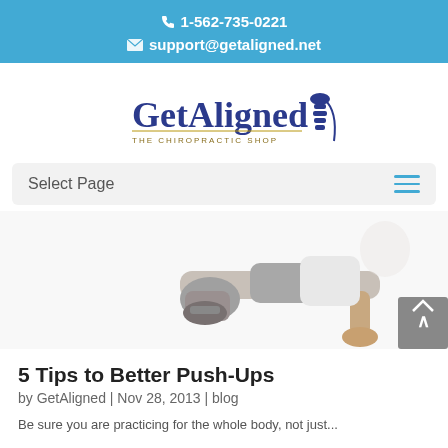1-562-735-0221
support@getaligned.net
[Figure (logo): GetAligned The Chiropractic Shop logo with spine graphic]
Select Page
[Figure (photo): Person doing a push-up exercise on white background]
5 Tips to Better Push-Ups
by GetAligned | Nov 28, 2013 | blog
Be sure you are practicing for the whole body, not just...